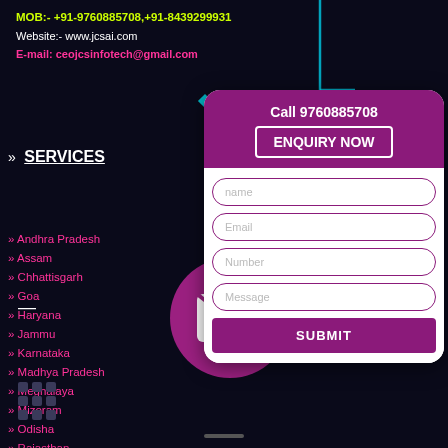MOB:- +91-9760885708,+91-8439299931
Website:- www.jcsai.com
E-mail: ceojcsinfotech@gmail.com
SERVICES
» Andhra Pradesh
» Assam
» Chhattisgarh
» Goa
» Haryana
» Jammu
» Karnataka
» Madhya Pradesh
» Meghalaya
» Mizoram
» Odisha
» Rajasthan
» Tamilnadu
»Tripura
»India
» Uttar Pr
[Figure (other): Enquiry form panel with purple header showing 'Call 9760885708' and 'ENQUIRY NOW' button, and input fields for name, Email, Number, Message, and a SUBMIT button]